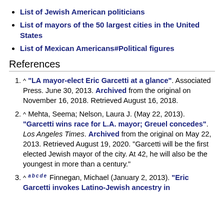List of Jewish American politicians
List of mayors of the 50 largest cities in the United States
List of Mexican Americans#Political figures
References
^ "LA mayor-elect Eric Garcetti at a glance". Associated Press. June 30, 2013. Archived from the original on November 16, 2018. Retrieved August 16, 2018.
^ Mehta, Seema; Nelson, Laura J. (May 22, 2013). "Garcetti wins race for L.A. mayor; Greuel concedes". Los Angeles Times. Archived from the original on May 22, 2013. Retrieved August 19, 2020. "Garcetti will be the first elected Jewish mayor of the city. At 42, he will also be the youngest in more than a century."
^ a b c d e Finnegan, Michael (January 2, 2013). "Eric Garcetti invokes Latino-Jewish ancestry in